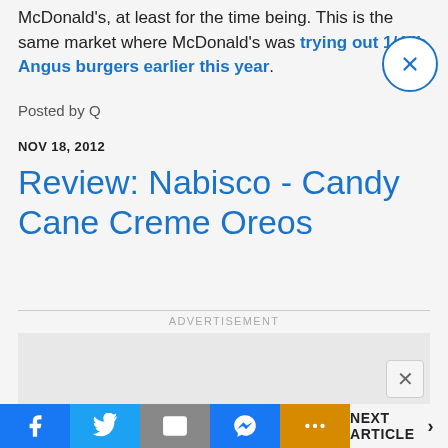McDonald's, at least for the time being. This is the same market where McDonald's was trying out 1/4 lb Angus burgers earlier this year.
Posted by Q
NOV 18, 2012
Review: Nabisco - Candy Cane Creme Oreos
ADVERTISEMENT
[Figure (other): Advertisement placeholder box]
Facebook | Twitter | Mail | Messenger | More | NEXT ARTICLE >